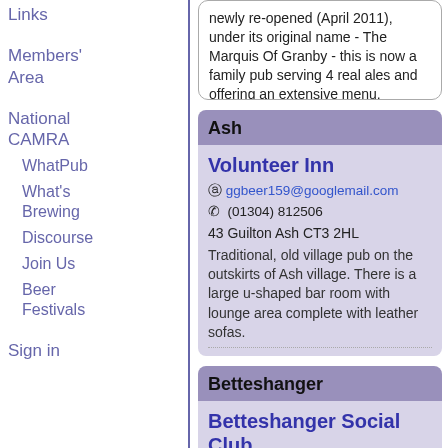Links
Members' Area
National CAMRA
WhatPub
What's Brewing
Discourse
Join Us
Beer Festivals
Sign in
newly re-opened (April 2011), under its original name - The Marquis Of Granby - this is now a family pub serving 4 real ales and offering an extensive menu.
Ash
Volunteer Inn
ggbeer159@googlemail.com
(01304) 812506
43 Guilton Ash CT3 2HL
Traditional, old village pub on the outskirts of Ash village. There is a large u-shaped bar room with lounge area complete with leather sofas.
Betteshanger
Betteshanger Social Club
(01304) 619540
Circular Road Betteshanger CT14 0LT